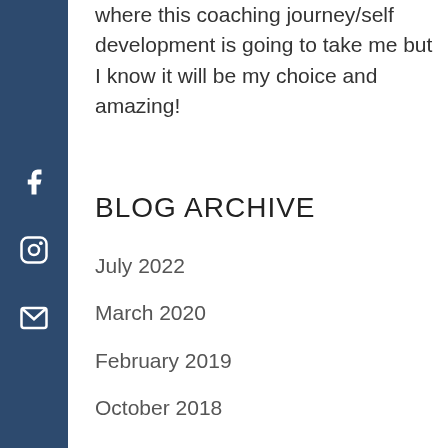where this coaching journey/self development is going to take me but I know it will be my choice and amazing!
BLOG ARCHIVE
July 2022
March 2020
February 2019
October 2018
August 2017
May 2016
November 2015